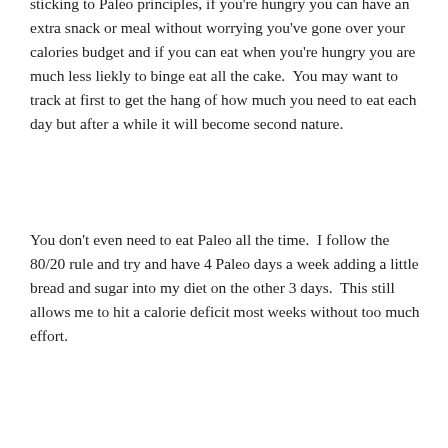sticking to Paleo principles, if you're hungry you can have an extra snack or meal without worrying you've gone over your calories budget and if you can eat when you're hungry you are much less liekly to binge eat all the cake.  You may want to track at first to get the hang of how much you need to eat each day but after a while it will become second nature.
You don't even need to eat Paleo all the time.  I follow the 80/20 rule and try and have 4 Paleo days a week adding a little bread and sugar into my diet on the other 3 days.  This still allows me to hit a calorie deficit most weeks without too much effort.